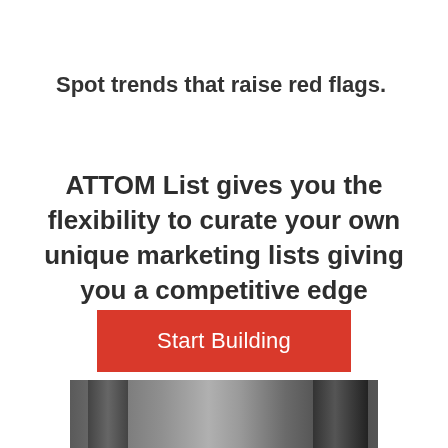Spot trends that raise red flags.
ATTOM List gives you the flexibility to curate your own unique marketing lists giving you a competitive edge
Start Building
[Figure (photo): Industrial construction site with cranes and scaffolding, shown in a grayscale/dark photograph at the bottom of the page.]